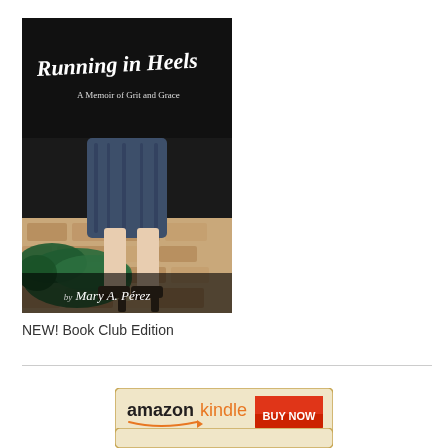[Figure (illustration): Book cover of 'Running in Heels: A Memoir of Grit and Grace' by Mary A. Pérez. Dark background showing legs of a woman in heels with a green flowing fabric, standing on cobblestones.]
NEW! Book Club Edition
[Figure (other): Amazon Kindle BUY NOW button — beige/gold background with 'amazon kindle' logo in black/orange and a red 'BUY NOW' button]
[Figure (other): Partial view of another purchase button at the bottom of the page]